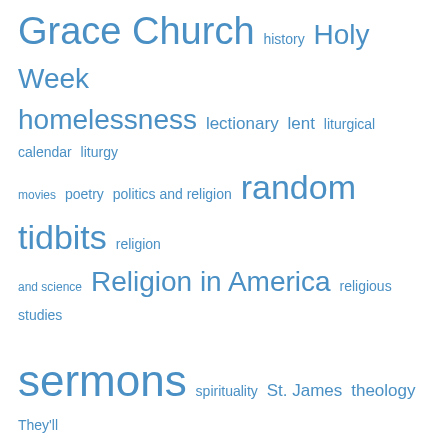[Figure (other): Tag cloud with various blog category tags in different sizes, all in blue: Grace Church (large), history, Holy Week, homelessness (large), lectionary, lent, liturgical calendar, liturgy, movies, poetry, politics and religion, random tidbits (very large), religion and science, Religion in America (large), religious studies, sermons (very large), spirituality, St. James, theology, They'll know we are Christians..., Uncategorized (very large), visual images, Wisconsin]
| S | M | T | W | T | F | S |
| --- | --- | --- | --- | --- | --- | --- |
|  |  | 1 | 2 | 3 | 4 | 5 |
| 6 | 7 | 8 | 9 | 10 | 11 | 12 |